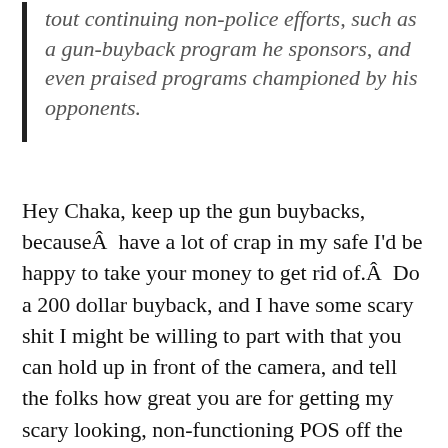tout continuing non-police efforts, such as a gun-buyback program he sponsors, and even praised programs championed by his opponents.
Hey Chaka, keep up the gun buybacks, becauseÂ have a lot of crap in my safe I'd be happy to take your money to get rid of.Â Do a 200 dollar buyback, and I have some scary shit I might be willing to part with that you can hold up in front of the camera, and tell the folks how great you are for getting my scary looking, non-functioning POS off the street.Â Just keep in mind if there's any press hanging about, I'll be sure to tell them I plan to use the funds to buy a brand new Kalashnikov if they bother to